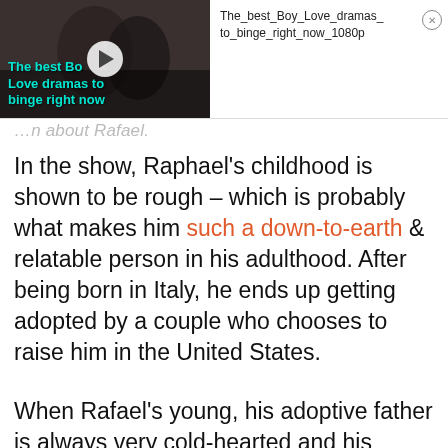[Figure (screenshot): Video thumbnail showing two people close together, with play button overlay and teal text 'The best Boy Love dramas to binge right now']
The_best_Boy_Love_dramas_to_binge_right_now_1080p
...n about Rafael.
In the show, Raphael's childhood is shown to be rough – which is probably what makes him such a down-to-earth & relatable person in his adulthood. After being born in Italy, he ends up getting adopted by a couple who chooses to raise him in the United States.
When Rafael's young, his adoptive father is always very cold-hearted and his adoptive mother doesn't stick around to see things